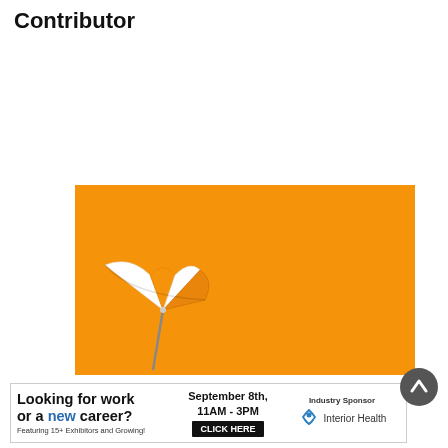Contributor
[Figure (photo): Orange background with a white and orange striped beach umbrella in the lower left corner]
[Figure (infographic): Advertisement banner: 'Looking for work or a new career? Featuring 15+ Exhibitors and Growing! September 8th, 11AM - 3PM CLICK HERE. Industry Sponsor: Interior Health']
[Figure (other): Dark grey circular back-to-top button with upward chevron arrow]